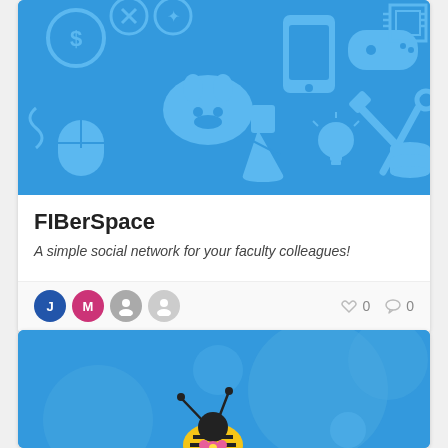[Figure (screenshot): Blue card header with tech/app icons: dollar sign, GitHub cat, game controller, processor chip, mouse, flask, lightbulb, hammer and wrench, database, phone]
FIBerSpace
A simple social network for your faculty colleagues!
[Figure (illustration): User avatars (J blue, M pink, gray user, light gray user) and heart count 0, comment count 0 in card footer]
[Figure (illustration): Second card with blue background and a cartoon bee character visible at bottom]